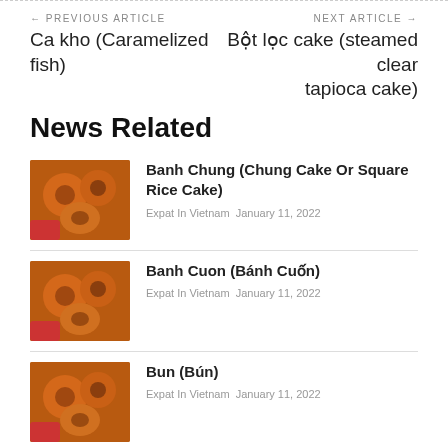← PREVIOUS ARTICLE
Ca kho (Caramelized fish)
NEXT ARTICLE →
Bột lọc cake (steamed clear tapioca cake)
News Related
[Figure (photo): Orange donut-shaped pastries held by a hand with red nails]
Banh Chung (Chung Cake Or Square Rice Cake)
Expat In Vietnam  January 11, 2022
[Figure (photo): Orange donut-shaped pastries held by a hand with red nails]
Banh Cuon (Bánh Cuốn)
Expat In Vietnam  January 11, 2022
[Figure (photo): Orange donut-shaped pastries held by a hand with red nails]
Bun (Bún)
Expat In Vietnam  January 11, 2022